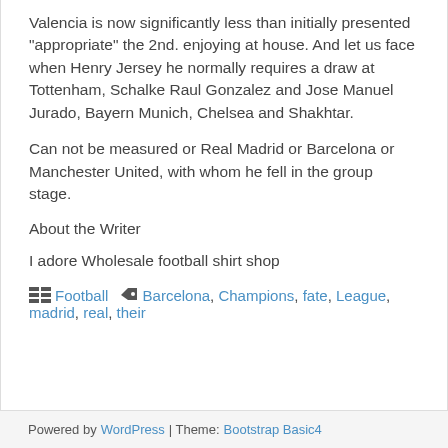Valencia is now significantly less than initially presented “appropriate” the 2nd. enjoying at house. And let us face when Henry Jersey he normally requires a draw at Tottenham, Schalke Raul Gonzalez and Jose Manuel Jurado, Bayern Munich, Chelsea and Shakhtar.
Can not be measured or Real Madrid or Barcelona or Manchester United, with whom he fell in the group stage.
About the Writer
I adore Wholesale football shirt shop
Football  Barcelona, Champions, fate, League, madrid, real, their
Powered by WordPress | Theme: Bootstrap Basic4